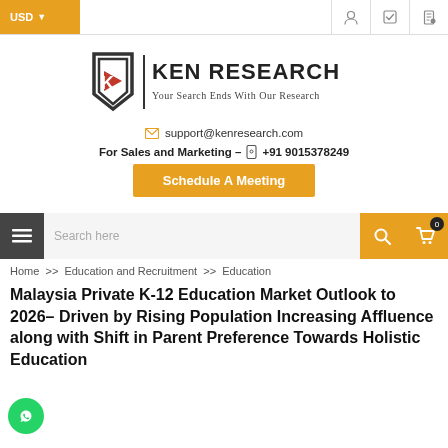USD
[Figure (logo): Ken Research logo with shield K icon and tagline 'Your Search Ends With Our Research']
support@kenresearch.com
For Sales and Marketing – +91 9015378249
Schedule A Meeting
Search here
Home >> Education and Recruitment >> Education
Malaysia Private K-12 Education Market Outlook to 2026– Driven by Rising Population Increasing Affluence along with Shift in Parent Preference Towards Holistic Education